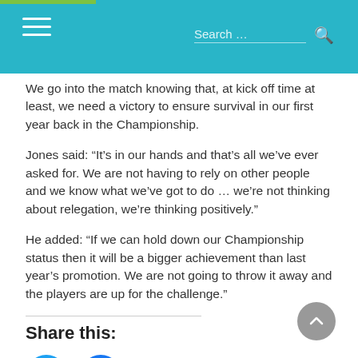Search ...
We go into the match knowing that, at kick off time at least, we need a victory to ensure survival in our first year back in the Championship.
Jones said: “It’s in our hands and that’s all we’ve ever asked for. We are not having to rely on other people and we know what we’ve got to do … we’re not thinking about relegation, we’re thinking positively.”
He added: “If we can hold down our Championship status then it will be a bigger achievement than last year’s promotion. We are not going to throw it away and the players are up for the challenge.”
Share this:
[Figure (other): Twitter and Facebook share buttons]